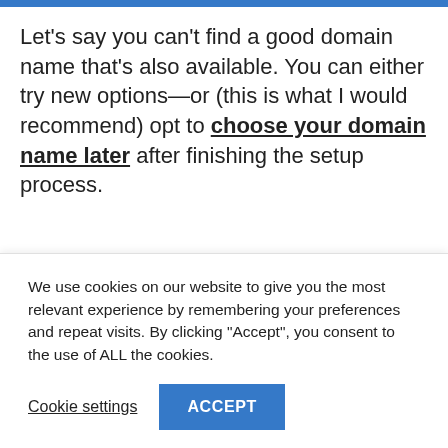Let's say you can't find a good domain name that's also available. You can either try new options—or (this is what I would recommend) opt to choose your domain name later after finishing the setup process.
This way, you will have more time to think and use the resources I talk about later in the guide to learn how to come up with a good blog name.
We use cookies on our website to give you the most relevant experience by remembering your preferences and repeat visits. By clicking "Accept", you consent to the use of ALL the cookies.
Cookie settings  ACCEPT